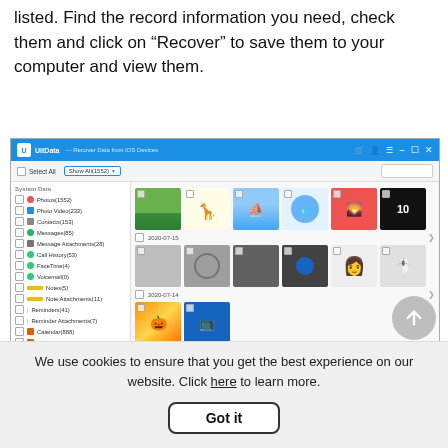listed. Find the record information you need, check them and click on "Recover" to save them to your computer and view them.
[Figure (screenshot): UltData iOS recovery software screenshot showing photo recovery interface with sidebar listing data types (Photos, Photo Video, Contacts, Messages, etc.) and thumbnail grid of recoverable photos organized by date (2020-07-15, 2020-07-14).]
We use cookies to ensure that you get the best experience on our website. Click here to learn more.
Got it